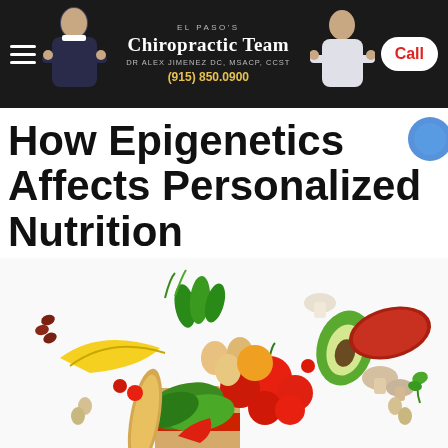El Paso's Chiropractic Team | Dr Alex Jimenez DC, MSACP, CCST | (915) 850.0900 | Call
How Epigenetics Affects Personalized Nutrition
[Figure (photo): Colorful spread of fresh foods including bananas, tomatoes, eggs, avocado, red meat, mushrooms, leafy greens, beans, and bread spilling from a grocery bag on a white background]